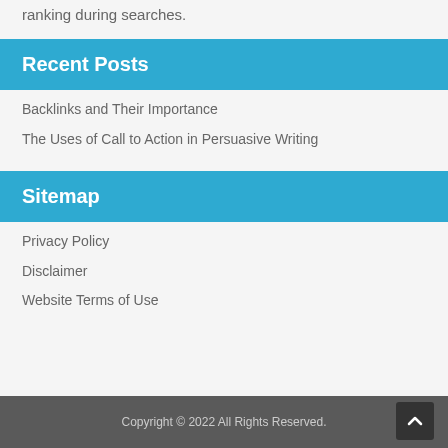ranking during searches.
Recent Posts
Backlinks and Their Importance
The Uses of Call to Action in Persuasive Writing
Sitemap
Privacy Policy
Disclaimer
Website Terms of Use
Copyright © 2022 All Rights Reserved.